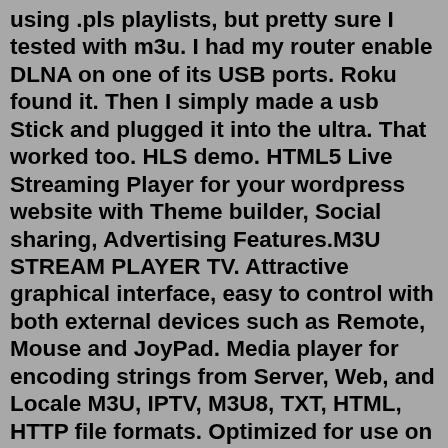using .pls playlists, but pretty sure I tested with m3u. I had my router enable DLNA on one of its USB ports. Roku found it. Then I simply made a usb Stick and plugged it into the ultra. That worked too. HLS demo. HTML5 Live Streaming Player for your wordpress website with Theme builder, Social sharing, Advertising Features.M3U STREAM PLAYER TV. Attractive graphical interface, easy to control with both external devices such as Remote, Mouse and JoyPad. Media player for encoding strings from Server, Web, and Locale M3U, IPTV, M3U8, TXT, HTML, HTTP file formats. Optimized for use on XBox, Hub, and Holographic Ideal for encoding poor-quality transmissions, such as. Jan 30, 2017 · The description of M3U Player : M3U IPTV Player App. M3U Player is an IPTV Player, which can play any M3U file from network or local directory . m3u Player play IPTV on phone, tablets , and android TV Box smoothly with native integrated player. Capable of reconnecting automatically and stream IPTV